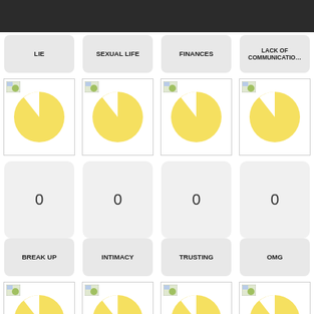LIE
SEXUAL LIFE
FINANCES
LACK OF COMMUNICATION
[Figure (pie-chart): Pie chart icon with yellow slice]
[Figure (pie-chart): Pie chart icon with yellow slice]
[Figure (pie-chart): Pie chart icon with yellow slice]
[Figure (pie-chart): Pie chart icon with yellow slice]
0
0
0
0
BREAK UP
INTIMACY
TRUSTING
OMG
[Figure (pie-chart): Pie chart icon with yellow slice]
[Figure (pie-chart): Pie chart icon with yellow slice]
[Figure (pie-chart): Pie chart icon with yellow slice]
[Figure (pie-chart): Pie chart icon with yellow slice]
0
0
0
0